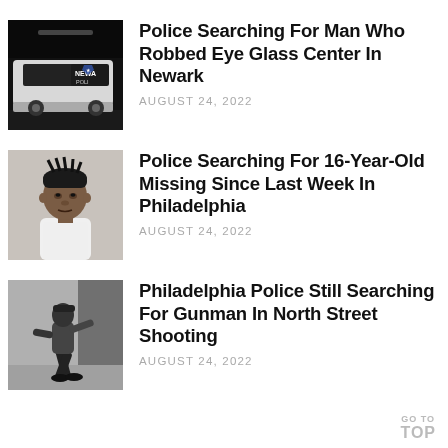[Figure (photo): Newark police car with NEWARK POLICE logo on door, dark/nighttime photo]
Police Searching For Man Who Robbed Eye Glass Center In Newark
AUGUST 24, 2022
[Figure (photo): Mugshot photo of a young Black male teenager wearing a white shirt, gray background]
Police Searching For 16-Year-Old Missing Since Last Week In Philadelphia
AUGUST 24, 2022
[Figure (photo): Outdoor security camera photo of a person in dark clothing near a building]
Philadelphia Police Still Searching For Gunman In North Street Shooting
AUGUST 24, 2022
GO TO TOP